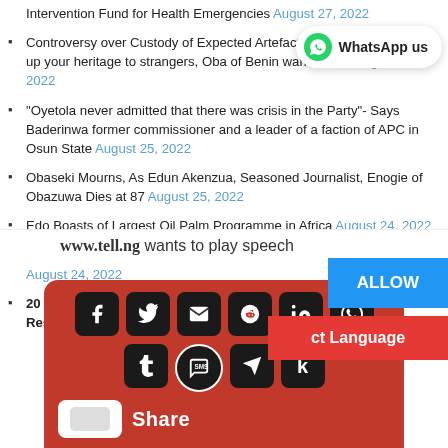Intervention Fund for Health Emergencies August 27, 2022
Controversy over Custody of Expected Artefacts... bamboozled to give up your heritage to strangers, Oba of Benin warns Edos August 26, 2022
"Oyetola never admitted that there was crisis in the Party"- Says Baderinwa former commissioner and a leader of a faction of APC in Osun State August 25, 2022
Obaseki Mourns, As Edun Akenzua, Seasoned Journalist, Enogie of Obazuwa Dies at 87 August 25, 2022
Edo Boasts of Largest Oil Palm Programme in Africa August 24, 2022
Edo Set to Host 94 Countries at Maiden International Film Festival August 24, 2022
20 Mummified Bodies: Obaseki Gives Police Seven Days to Resolve Puzzle August 20, 2022
www.tell.ng wants to play speech
[Figure (infographic): Social share buttons overlay on red background including Facebook, Twitter, Email, Reddit, LinkedIn, WhatsApp, Tumblr, SMS, Telegram, Kinja icons, with a Share label. Also shows ALLOW button in blue and Select Language bar in red.]